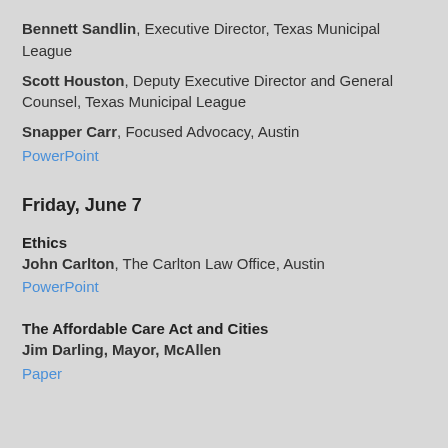Bennett Sandlin, Executive Director, Texas Municipal League
Scott Houston, Deputy Executive Director and General Counsel, Texas Municipal League
Snapper Carr, Focused Advocacy, Austin
PowerPoint
Friday, June 7
Ethics
John Carlton, The Carlton Law Office, Austin
PowerPoint
The Affordable Care Act and Cities
Jim Darling, Mayor, McAllen
Paper